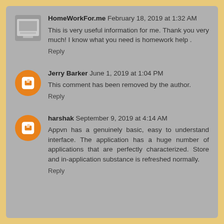HomeWorkFor.me  February 18, 2019 at 1:32 AM
This is very useful information for me. Thank you very much! I know what you need is homework help .
Reply
Jerry Barker  June 1, 2019 at 1:04 PM
This comment has been removed by the author.
Reply
harshak  September 9, 2019 at 4:14 AM
Appvn has a genuinely basic, easy to understand interface. The application has a huge number of applications that are perfectly characterized. Store and in-application substance is refreshed normally.
Reply